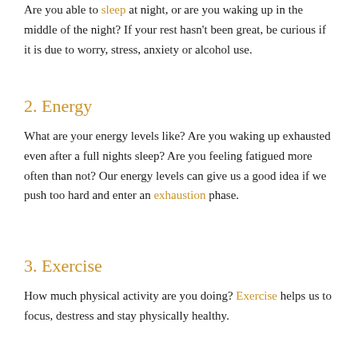Are you able to sleep at night, or are you waking up in the middle of the night?  If your rest hasn't been great, be curious if it is due to worry, stress, anxiety or alcohol use.
2. Energy
What are your energy levels like?  Are you waking up exhausted even after a full nights sleep?  Are you feeling fatigued more often than not?  Our energy levels can give us a good idea if we push too hard and enter an exhaustion phase.
3. Exercise
How much physical activity are you doing?  Exercise helps us to focus, destress and stay physically healthy.